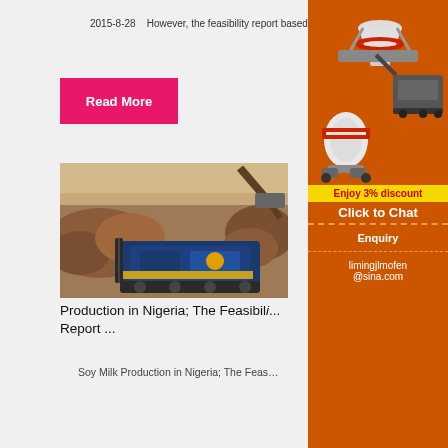2015-8-28   However, the feasibility report based …
Read More
[Figure (photo): Mining/crushing machinery (blue mobile crusher) at a rock quarry site]
Production in Nigeria; The Feasibility Report ...
Soy Milk Production in Nigeria; The Feas...
[Figure (illustration): Orange sidebar advertisement showing industrial crushing/grinding machines with text 'Enjoy 3% discount', 'Click to Chat', 'Enquiry', 'limingjlmofen@sina.com']